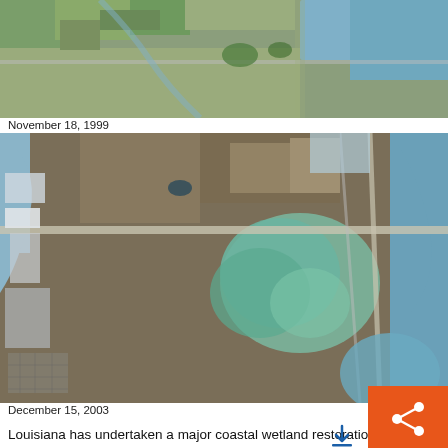[Figure (photo): Aerial/satellite photo of a Louisiana coastal wetland area taken on November 18, 1999, showing fields, waterways, and land patterns from above.]
November 18, 1999
[Figure (photo): Aerial/satellite photo of the same Louisiana coastal wetland area taken on December 15, 2003, showing changes to the wetland including more visible water and vegetation changes compared to the 1999 image. An orange share button overlay appears in the lower right corner.]
December 15, 2003
Louisiana has undertaken a major coastal wetland restoration project